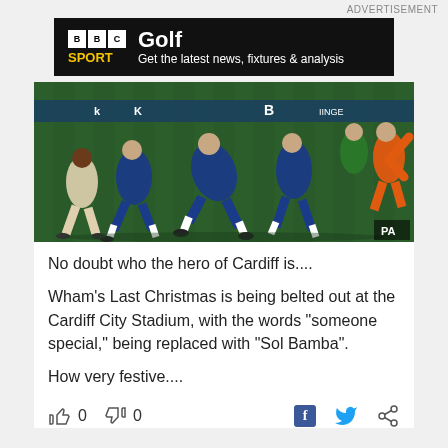ADVERTISEMENT
[Figure (photo): BBC Sport Golf advertisement banner with black background, BBC logo boxes, yellow SPORT text, and tagline: Get the latest news, fixtures & analysis]
[Figure (photo): Football match action photo showing players in blue kit and goalkeeper in orange kit during a Cardiff City game. PA watermark visible.]
No doubt who the hero of Cardiff is....
Wham's Last Christmas is being belted out at the Cardiff City Stadium, with the words "someone special," being replaced with "Sol Bamba".
How very festive....